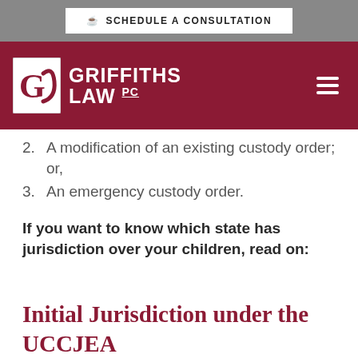SCHEDULE A CONSULTATION
[Figure (logo): Griffiths Law PC logo with stylized G icon on dark red background navigation bar]
2. A modification of an existing custody order; or,
3. An emergency custody order.
If you want to know which state has jurisdiction over your children, read on:
Initial Jurisdiction under the UCCJEA